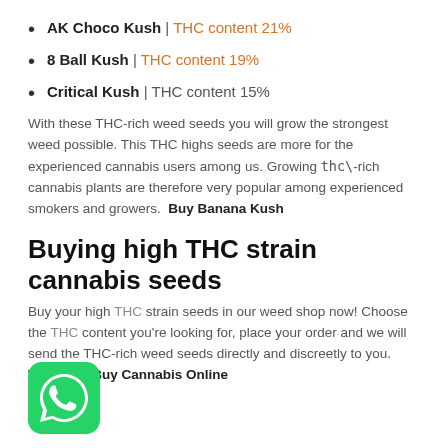AK Choco Kush | THC content 21%
8 Ball Kush | THC content 19%
Critical Kush | THC content 15%
With these THC-rich weed seeds you will grow the strongest weed possible. This THC highs seeds are more for the experienced cannabis users among us. Growing thc\-rich cannabis plants are therefore very popular among experienced smokers and growers. Buy Banana Kush
Buying high THC strain cannabis seeds
Buy your high THC strain seeds in our weed shop now! Choose the THC content you're looking for, place your order and we will send the THC-rich weed seeds directly and discreetly to you.  Where To Buy Cannabis Online
[Figure (logo): WhatsApp green logo icon, rounded square, bottom left]